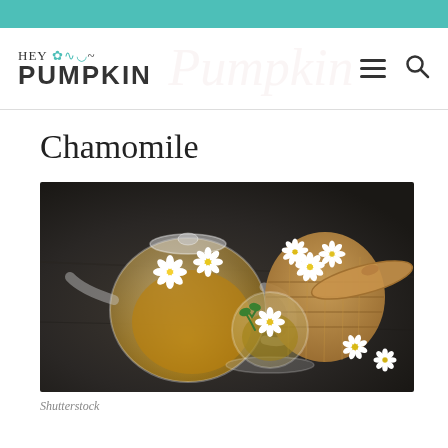HEY PUMPKIN
Chamomile
[Figure (photo): A glass teapot filled with chamomile tea and flowers, a glass teacup on a saucer with chamomile flowers, and a wicker basket filled with chamomile flowers, all arranged on a dark slate surface.]
Shutterstock